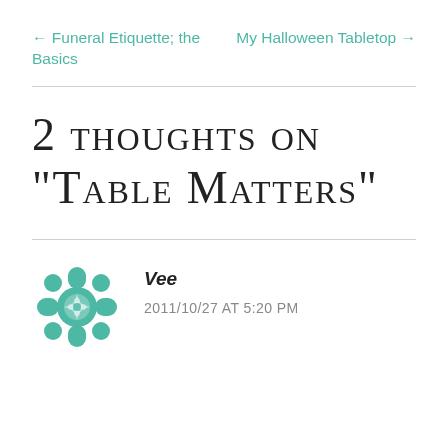← Funeral Etiquette; the Basics    My Halloween Tabletop →
2 thoughts on “Table Matters”
Vee
2011/10/27 AT 5:20 PM